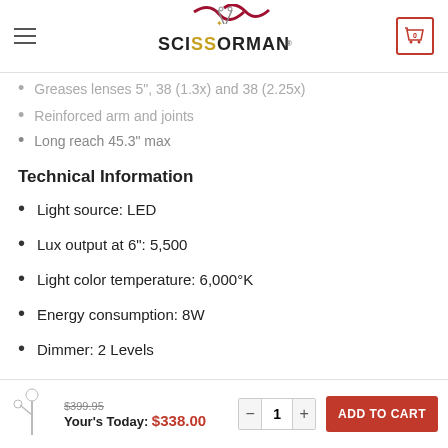SCISSORMAN (logo/navigation bar)
Greases lenses 5", 38 (1.3x) and 38 (2.25x)
Reinforced arm and joints
Long reach 45.3" max
Technical Information
Light source: LED
Lux output at 6": 5,500
Light color temperature: 6,000°K
Energy consumption: 8W
Dimmer: 2 Levels
Product color: White/Grey
Product dimensions: 23" x 7.1" x 30.7"
$399.95  Your's Today: $338.00  - 1 + ADD TO CART